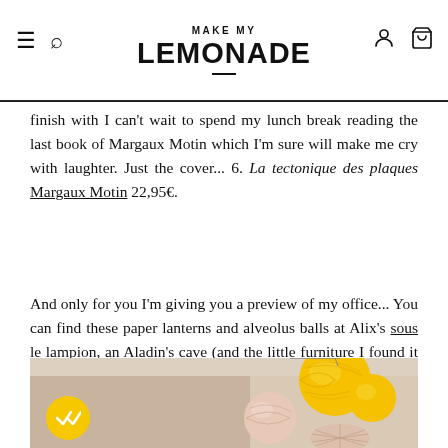MAKE MY LEMONADE
finish with I can't wait to spend my lunch break reading the last book of Margaux Motin which I'm sure will make me cry with laughter. Just the cover... 6. La tectonique des plaques Margaux Motin 22,95€.
And only for you I'm giving you a preview of my office... You can find these paper lanterns and alveolus balls at Alix's sous le lampion, an Aladin's cave (and the little furniture I found it in the street so not link available...) Kisses, see you tomorrow!
[Figure (photo): Photo of decorative paper lanterns and alveolus balls in beige/pink and yellow colors hanging on a wall]